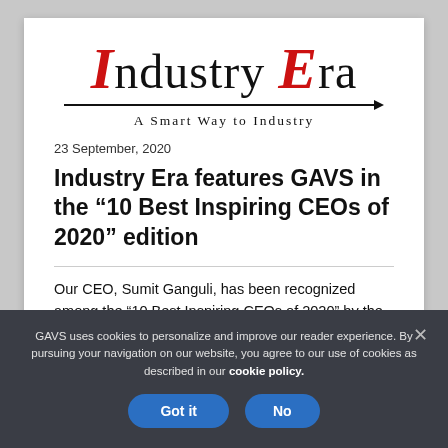[Figure (logo): Industry Era magazine logo with red italic capital I and E, arrow line beneath, tagline 'A Smart Way to Industry']
23 September, 2020
Industry Era features GAVS in the “10 Best Inspiring CEOs of 2020” edition
Our CEO, Sumit Ganguli, has been recognized among the “10 Best Inspiring CEOs of 2020” by the Industry
GAVS uses cookies to personalize and improve our reader experience. By pursuing your navigation on our website, you agree to our use of cookies as described in our cookie policy.